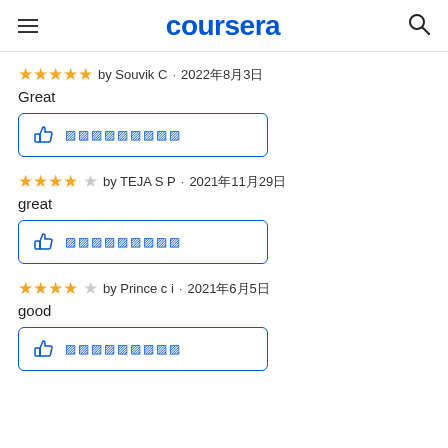coursera
★★★★★ by Souvik C · 2022年8月3日
Great
[Figure (other): Thumbs up helpful button with garbled text]
★★★★☆ by TEJA S P · 2021年11月29日
great
[Figure (other): Thumbs up helpful button with garbled text]
★★★★☆ by Prince c i · 2021年6月5日
good
[Figure (other): Thumbs up helpful button with garbled text]